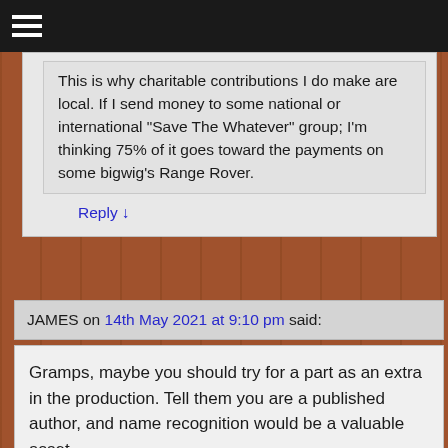≡
This is why charitable contributions I do make are local. If I send money to some national or international "Save The Whatever" group; I'm thinking 75% of it goes toward the payments on some bigwig's Range Rover.
Reply ↓
JAMES on 14th May 2021 at 9:10 pm said:
Gramps, maybe you should try for a part as an extra in the production. Tell them you are a published author, and name recognition would be a valuable asset.
Reply ↓
Kirk M on 18th May 2021 at 8:32 pm said:
I agree with James (above comment), especially with